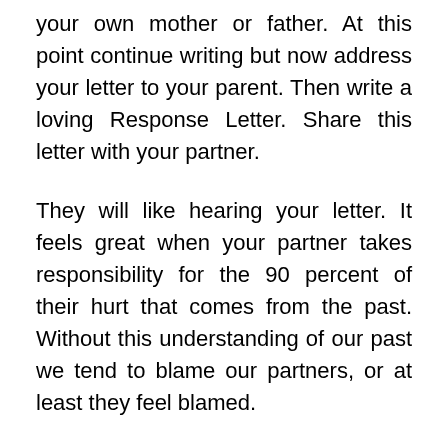your own mother or father. At this point continue writing but now address your letter to your parent. Then write a loving Response Letter. Share this letter with your partner.
They will like hearing your letter. It feels great when your partner takes responsibility for the 90 percent of their hurt that comes from the past. Without this understanding of our past we tend to blame our partners, or at least they feel blamed.
If you want your partner to be more sensitive to your feelings, let them experience the painful feelings of your past. Then they can understand your sensitivities better. ...